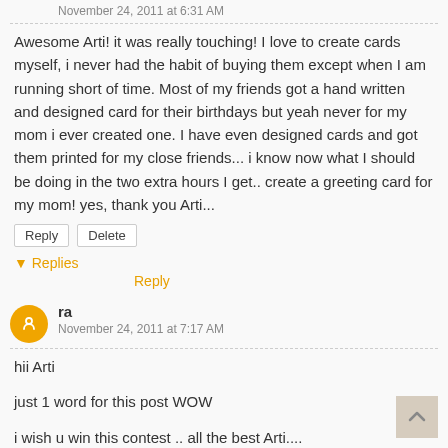November 24, 2011 at 6:31 AM
Awesome Arti! it was really touching! I love to create cards myself, i never had the habit of buying them except when I am running short of time. Most of my friends got a hand written and designed card for their birthdays but yeah never for my mom i ever created one. I have even designed cards and got them printed for my close friends... i know now what I should be doing in the two extra hours I get.. create a greeting card for my mom! yes, thank you Arti...
Reply
Delete
Replies
Reply
ra
November 24, 2011 at 7:17 AM
hii Arti

just 1 word for this post WOW

i wish u win this contest .. all the best Arti....

you make me miss my mom...

hey btw is your mom on blog by any chance :P